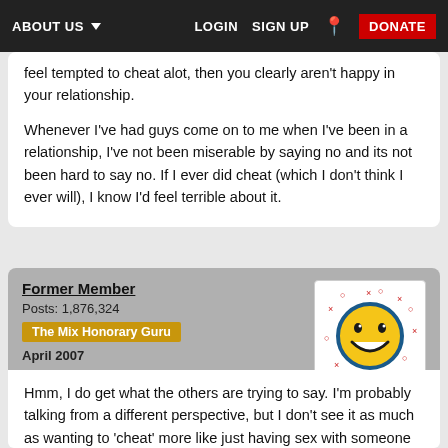ABOUT US  LOGIN  SIGN UP  DONATE
feel tempted to cheat alot, then you clearly aren't happy in your relationship.

Whenever I've had guys come on to me when I've been in a relationship, I've not been miserable by saying no and its not been hard to say no. If I ever did cheat (which I don't think I ever will), I know I'd feel terrible about it.
Former Member
Posts: 1,876,324
The Mix Honorary Guru
April 2007
[Figure (illustration): Smiley face emoji icon with yellow face, blue circular border with red dots/crosses pattern]
Hmm, I do get what the others are trying to say. I'm probably talking from a different perspective, but I don't see it as much as wanting to 'cheat' more like just having sex with someone else. And before I don the flame retardant suit with people kindly pointing out definitions etc, I'm talking in context with being...